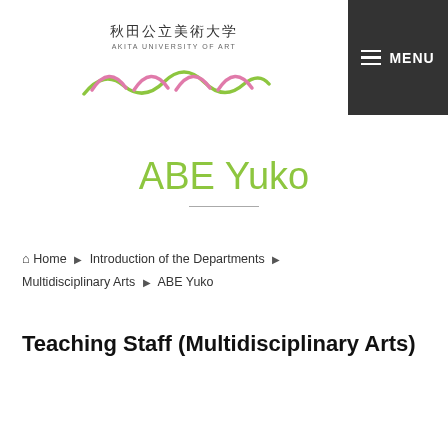[Figure (logo): Akita University of Art logo with Japanese text 秋田公立美術大学, English text AKITA UNIVERSITY OF ART, and stylized wave/mountain graphic in green and pink]
ABE Yuko
Home ▶ Introduction of the Departments ▶ Multidisciplinary Arts ▶ ABE Yuko
Teaching Staff (Multidisciplinary Arts)